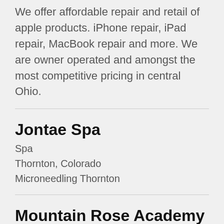We offer affordable repair and retail of apple products. iPhone repair, iPad repair, MacBook repair and more. We are owner operated and amongst the most competitive pricing in central Ohio.
Jontae Spa
Spa
Thornton, Colorado
Microneedling Thornton
Mountain Rose Academy
Charter school